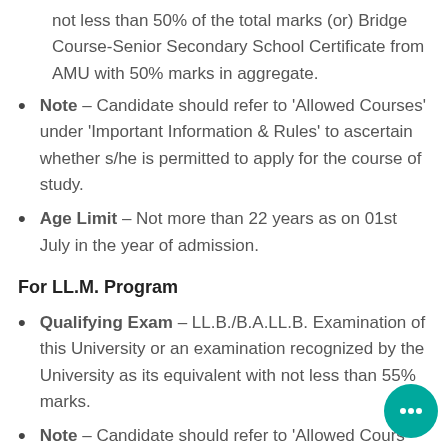not less than 50% of the total marks (or) Bridge Course-Senior Secondary School Certificate from AMU with 50% marks in aggregate.
Note – Candidate should refer to 'Allowed Courses' under 'Important Information & Rules' to ascertain whether s/he is permitted to apply for the course of study.
Age Limit – Not more than 22 years as on 01st July in the year of admission.
For LL.M. Program
Qualifying Exam – LL.B./B.A.LL.B. Examination of this University or an examination recognized by the University as its equivalent with not less than 55% marks.
Note – Candidate should refer to 'Allowed Courses' under 'Important Information & Rules' to ascertain